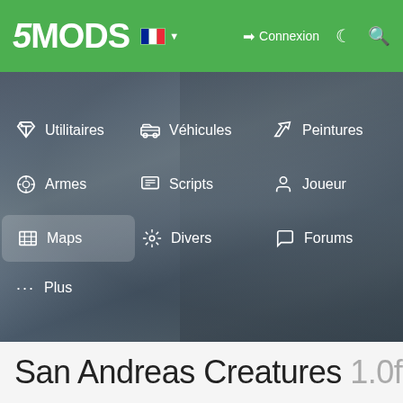5MODS — Connexion
[Figure (screenshot): Navigation menu overlay on a blurred GTA game background showing menu items: Utilitaires, Véhicules, Peintures, Armes, Scripts, Joueur, Maps (highlighted), Divers, Forums, Plus]
San Andreas Creatures 1.0f